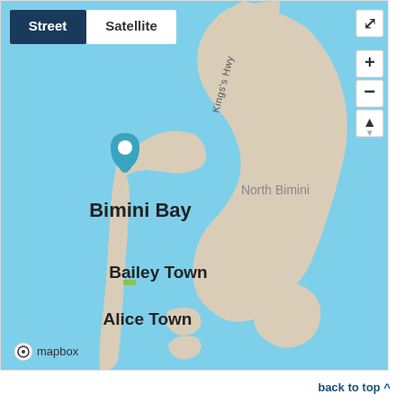[Figure (map): Street map showing Bimini Bay area in the Bahamas. Map displays North Bimini island in tan/beige, surrounded by light blue water. Labels visible: Bimini Bay (with a blue location pin marker), North Bimini, Bailey Town, Alice Town, and Kings's Hwy road label. Map controls include Street/Satellite toggle buttons in top left, fullscreen icon top right, plus/minus zoom and compass controls on right side. Mapbox logo in bottom left corner.]
back to top ^